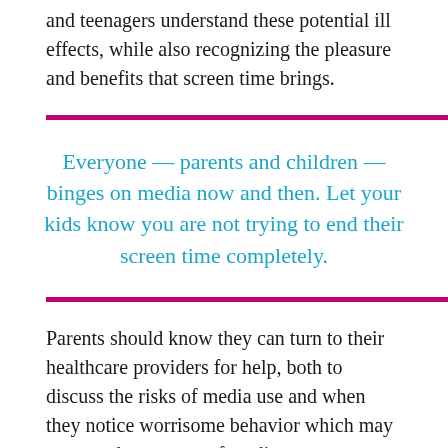and teenagers understand these potential ill effects, while also recognizing the pleasure and benefits that screen time brings.
Everyone — parents and children — binges on media now and then. Let your kids know you are not trying to end their screen time completely.
Parents should know they can turn to their healthcare providers for help, both to discuss the risks of media use and when they notice worrisome behavior which may suggest the overuse of media